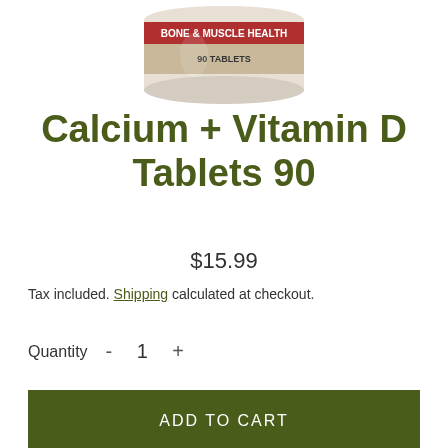[Figure (photo): Bottom portion of a white supplement bottle with a red and dark label reading 'BONE & MUSCLE HEALTH' and '90 TABLETS']
Calcium + Vitamin D Tablets 90
$15.99
Tax included. Shipping calculated at checkout.
Quantity  -  1  +
ADD TO CART